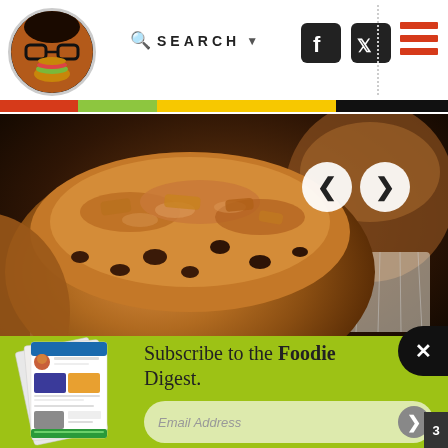Foodie blog website header with logo, search, social icons, and menu
[Figure (photo): Close-up photo of chocolate chip muffins with crumbly streusel topping in white paper liners, dark warm-toned background]
Subscribe to the Foodie Digest.
Email Address